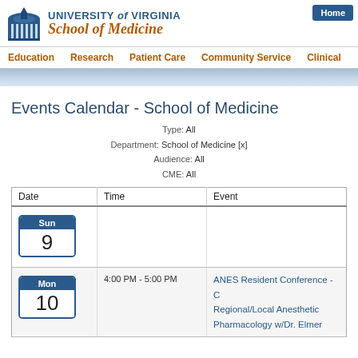University of Virginia School of Medicine
Home
Education | Research | Patient Care | Community Service | Clinical
Events Calendar - School of Medicine
Type: All
Department: School of Medicine [x]
Audience: All
CME: All
| Date | Time | Event |
| --- | --- | --- |
| Sun 9 |  |  |
| Mon 10 | 4:00 PM - 5:00 PM | ANES Resident Conference - Regional/Local Anesthetic Pharmacology w/Dr. Elmer |